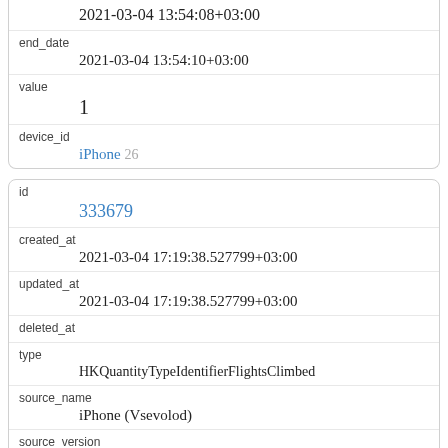2021-03-04 13:54:08+03:00
end_date
2021-03-04 13:54:10+03:00
value
1
device_id
iPhone 26
id
333679
created_at
2021-03-04 17:19:38.527799+03:00
updated_at
2021-03-04 17:19:38.527799+03:00
deleted_at
type
HKQuantityTypeIdentifierFlightsClimbed
source_name
iPhone (Vsevolod)
source_version